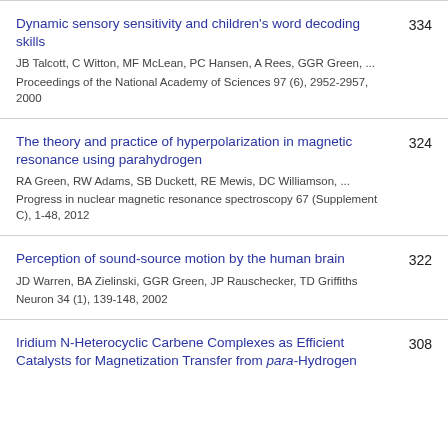Dynamic sensory sensitivity and children's word decoding skills | JB Talcott, C Witton, MF McLean, PC Hansen, A Rees, GGR Green, ... | Proceedings of the National Academy of Sciences 97 (6), 2952-2957, 2000 | 334
The theory and practice of hyperpolarization in magnetic resonance using parahydrogen | RA Green, RW Adams, SB Duckett, RE Mewis, DC Williamson, ... | Progress in nuclear magnetic resonance spectroscopy 67 (Supplement C), 1-48, 2012 | 324
Perception of sound-source motion by the human brain | JD Warren, BA Zielinski, GGR Green, JP Rauschecker, TD Griffiths | Neuron 34 (1), 139-148, 2002 | 322
Iridium N-Heterocyclic Carbene Complexes as Efficient Catalysts for Magnetization Transfer from para-Hydrogen | 308